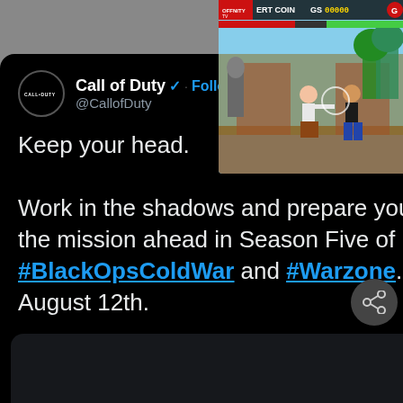[Figure (screenshot): Mortal Kombat style fighting game screenshot with two fighters, game HUD showing ERT COIN, GS scores, health bars in red and green, Asian temple background]
Call of Duty @CallofDuty · Follow
Keep your head.

Work in the shadows and prepare yourself for the mission ahead in Season Five of #BlackOpsColdWar and #Warzone. Live on August 12th.
The following media includes potentially sensitive content.

View